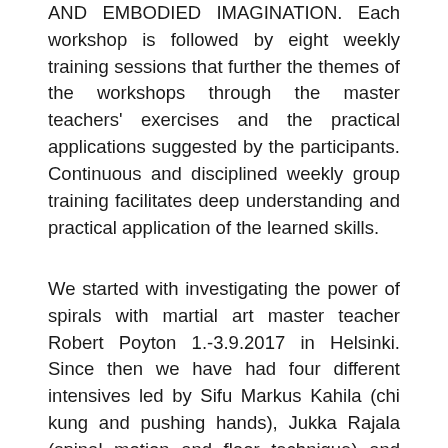AND EMBODIED IMAGINATION. Each workshop is followed by eight weekly training sessions that further the themes of the workshops through the master teachers' exercises and the practical applications suggested by the participants. Continuous and disciplined weekly group training facilitates deep understanding and practical application of the learned skills.
We started with investigating the power of spirals with martial art master teacher Robert Poyton 1.-3.9.2017 in Helsinki. Since then we have had four different intensives led by Sifu Markus Kahila (chi kung and pushing hands), Jukka Rajala (spinal motion and floor technique) and Heidi Vierthaler (directions and relations within the body and the space). Markus Kahila will return in the Autumn 2019 to lead a second chi kung...